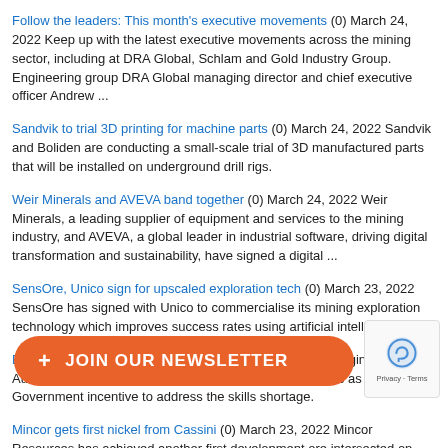Follow the leaders: This month's executive movements (0) March 24, 2022 Keep up with the latest executive movements across the mining sector, including at DRA Global, Schlam and Gold Industry Group. Engineering group DRA Global managing director and chief executive officer Andrew ...
Sandvik to trial 3D printing for machine parts (0) March 24, 2022 Sandvik and Boliden are conducting a small-scale trial of 3D manufactured parts that will be installed on underground drill rigs.
Weir Minerals and AVEVA band together (0) March 24, 2022 Weir Minerals, a leading supplier of equipment and services to the mining industry, and AVEVA, a global leader in industrial software, driving digital transformation and sustainability, have signed a digital ...
SensOre, Unico sign for upscaled exploration tech (0) March 23, 2022 SensOre has signed with Unico to commercialise its mining exploration technology which improves success rates using artificial intelligence.
Engineering skills shortage solution (0) March 23, 2022 Engineers Australia is providing free, fast-tracked skills assessments as part of a Government incentive to address the skills shortage.
Mincor gets first nickel from Cassini (0) March 23, 2022 Mincor Resources has achieved another first development ore intersected on ... Western Australia.
... (0) March 23, 20... Perth-based mining company Schlam has appointed David Ha... its new board chairperson, effective from February 1, 2022.